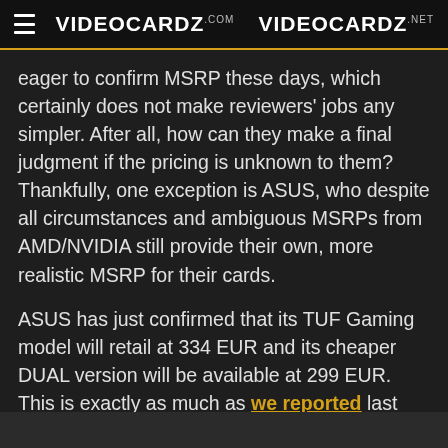VIDEOCARDZ.com   VIDEOCARDZ.net
eager to confirm MSRP these days, which certainly does not make reviewers' jobs any simpler. After all, how can they make a final judgment if the pricing is unknown to them? Thankfully, one exception is ASUS, who despite all circumstances and ambiguous MSRPs from AMD/NVIDIA still provide their own, more realistic MSRP for their cards.
ASUS has just confirmed that its TUF Gaming model will retail at 334 EUR and its cheaper DUAL version will be available at 299 EUR. This is exactly as much as we reported last week after the first rumors about retail prices have begun to surface.